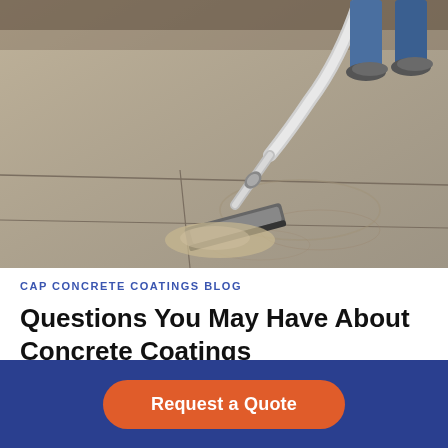[Figure (photo): A worker using a vacuum or squeegee tool on a concrete floor surface, being prepared or coated. The person is wearing jeans and work shoes, visible from the knees down.]
CAP CONCRETE COATINGS BLOG
Questions You May Have About Concrete Coatings
Request a Quote